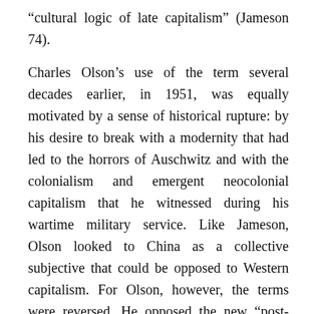"cultural logic of late capitalism" (Jameson 74).
Charles Olson's use of the term several decades earlier, in 1951, was equally motivated by a sense of historical rupture: by his desire to break with a modernity that had led to the horrors of Auschwitz and with the colonialism and emergent neocolonial capitalism that he witnessed during his wartime military service. Like Jameson, Olson looked to China as a collective subjective that could be opposed to Western capitalism. For Olson, however, the terms were reversed. He opposed the new "post-modern world" and his "projective" poetry to a pernicious modernity and an "estranged" or alienated "modern" subject (9